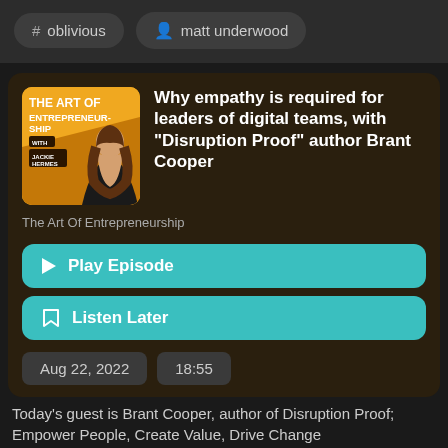# oblivious
matt underwood
[Figure (illustration): The Art of Entrepreneurship podcast cover art with orange/yellow background, woman host, and bold text]
Why empathy is required for leaders of digital teams, with "Disruption Proof" author Brant Cooper
The Art Of Entrepreneurship
Play Episode
Listen Later
Aug 22, 2022
18:55
Today's guest is Brant Cooper, author of Disruption Proof; Empower People, Create Value, Drive Change